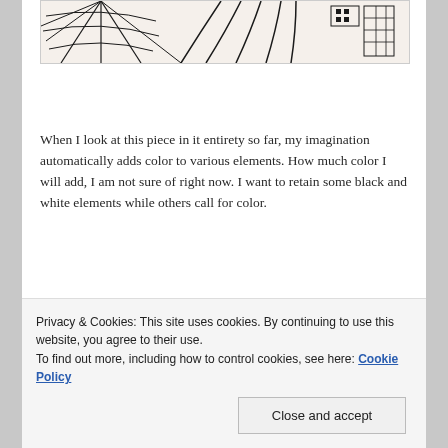[Figure (illustration): Partial view of a black and white artwork showing abstract/decorative line drawing elements — spiderweb-like patterns, geometric shapes, and intricate linework on a light background.]
When I look at this piece in it entirety so far, my imagination automatically adds color to various elements. How much color I will add, I am not sure of right now. I want to retain some black and white elements while others call for color.
[Figure (photo): A photograph partially visible — appears to show a framed artwork or canvas, with dark and light tones. An orange/red strip is visible at the bottom edge.]
Privacy & Cookies: This site uses cookies. By continuing to use this website, you agree to their use.
To find out more, including how to control cookies, see here: Cookie Policy
Close and accept